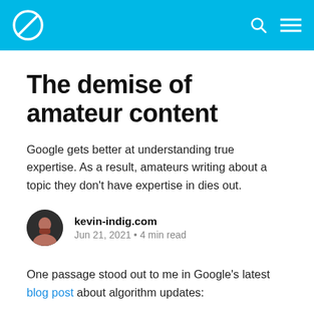kevin-indig.com
The demise of amateur content
Google gets better at understanding true expertise. As a result, amateurs writing about a topic they don't have expertise in dies out.
kevin-indig.com
Jun 21, 2021 • 4 min read
One passage stood out to me in Google's latest blog post about algorithm updates: